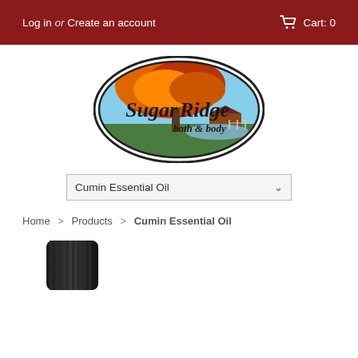Log in or Create an account   Cart: 0
[Figure (logo): Sugar Ridge bath & body oval logo with autumn foliage background]
Cumin Essential Oil
Home > Products > Cumin Essential Oil
[Figure (photo): Top of a dark essential oil bottle cap]